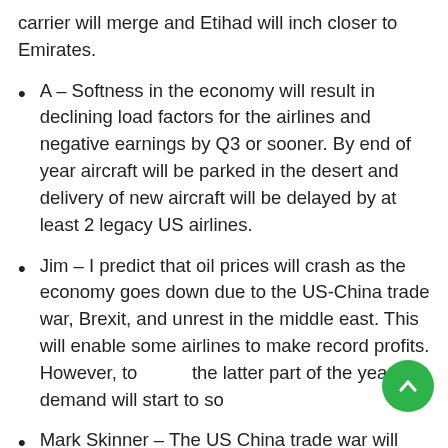carrier will merge and Etihad will inch closer to Emirates.
A – Softness in the economy will result in declining load factors for the airlines and negative earnings by Q3 or sooner. By end of year aircraft will be parked in the desert and delivery of new aircraft will be delayed by at least 2 legacy US airlines.
Jim – I predict that oil prices will crash as the economy goes down due to the US-China trade war, Brexit, and unrest in the middle east. This will enable some airlines to make record profits. However, towards the latter part of the year, demand will start to soften.
Mark Skinner – The US China trade war will see less Boeing sales in Asia, and more in the US as patriotism and politics kick in on both sides.